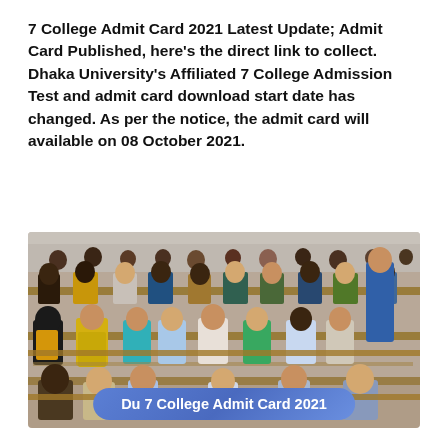7 College Admit Card 2021 Latest Update; Admit Card Published, here's the direct link to collect. Dhaka University's Affiliated 7 College Admission Test and admit card download start date has changed. As per the notice, the admit card will available on 08 October 2021.
[Figure (photo): Students sitting at wooden desks in an exam hall, writing their exam. Many students are visible in rows. A teacher/invigilator stands at the right side. A blue banner at the bottom reads 'Du 7 College Admit Card 2021'.]
Du 7 College Admit Card 2021